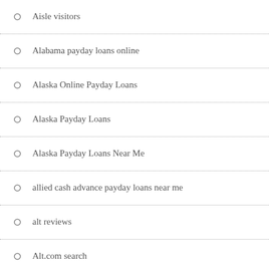Aisle visitors
Alabama payday loans online
Alaska Online Payday Loans
Alaska Payday Loans
Alaska Payday Loans Near Me
allied cash advance payday loans near me
alt reviews
Alt.com search
alternative to payday loans with bad credit
alua preise
Alua reviews
alua sign in